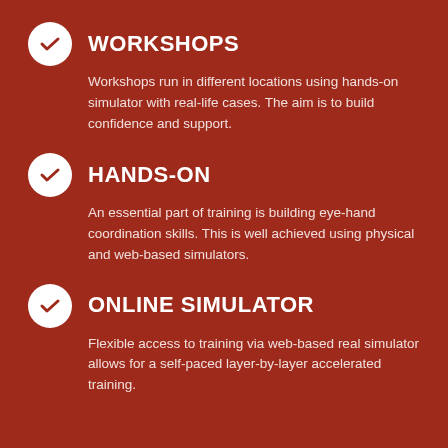WORKSHOPS
Workshops run in different locations using hands-on simulator with real-life cases. The aim is to build confidence and support.
HANDS-ON
An essential part of training is building eye-hand coordination skills. This is well achieved using physical and web-based simulators.
ONLINE SIMULATOR
Flexible access to training via web-based real simulator allows for a self-paced layer-by-layer accelerated training.